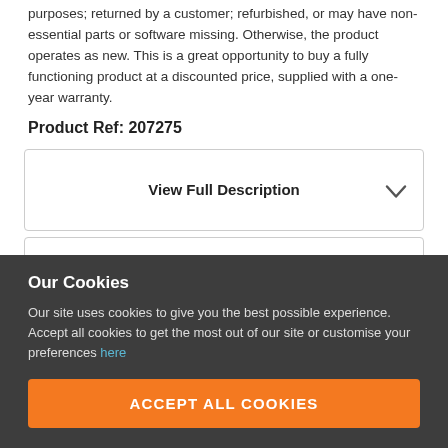purposes; returned by a customer; refurbished, or may have non-essential parts or software missing. Otherwise, the product operates as new. This is a great opportunity to buy a fully functioning product at a discounted price, supplied with a one-year warranty.
Product Ref: 207275
View Full Description
View Finance Options
Spread your payment with Klarna. No fees.
warranty & 30-day money-back guarantee included.
Our Cookies
Our site uses cookies to give you the best possible experience. Accept all cookies to get the most out of our site or customise your preferences here
ACCEPT ALL COOKIES